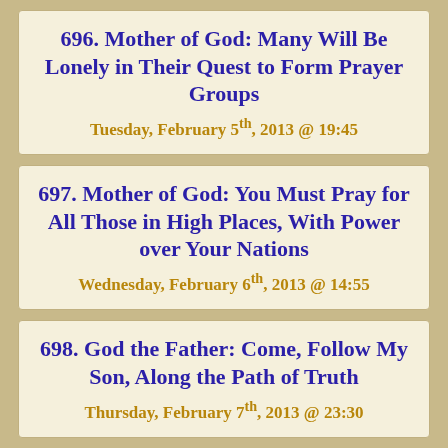696. Mother of God: Many Will Be Lonely in Their Quest to Form Prayer Groups
Tuesday, February 5th, 2013 @ 19:45
697. Mother of God: You Must Pray for All Those in High Places, With Power over Your Nations
Wednesday, February 6th, 2013 @ 14:55
698. God the Father: Come, Follow My Son, Along the Path of Truth
Thursday, February 7th, 2013 @ 23:30